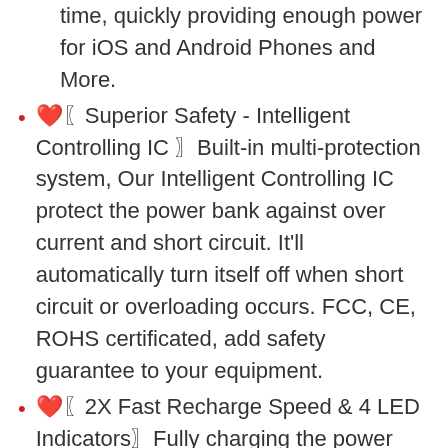time, quickly providing enough power for iOS and Android Phones and More.
❤️〖Superior Safety - Intelligent Controlling IC 〗Built-in multi-protection system, Our Intelligent Controlling IC protect the power bank against over current and short circuit. It'll automatically turn itself off when short circuit or overloading occurs. FCC, CE, ROHS certificated, add safety guarantee to your equipment.
❤️〖2X Fast Recharge Speed & 4 LED Indicators〗Fully charging the power bank takes only 8-16 hours with a 2.1A charger; Built-in 4 blue LED indicators show the power left as 25%-50%-75%-100%.
❤️〖Extended 24 Month After-Sale Technical Support and 45-Day 100% Full Refund〗You will get QTshine Portable Charger Power Bank